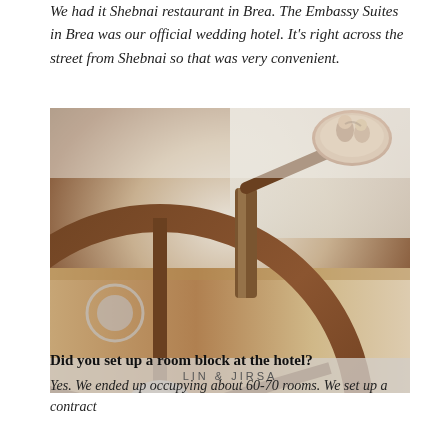We had it Shebnai restaurant in Brea. The Embassy Suites in Brea was our official wedding hotel. It's right across the street from Shebnai so that was very convenient.
[Figure (photo): Close-up interior shot of a vintage car dashboard and steering wheel, with a reflection of a couple kissing visible in the rearview mirror. Watermark reads LIN & JIRSA.]
Did you set up a room block at the hotel?
Yes. We ended up occupying about 60-70 rooms. We set up a contract for the room block at the hotel for our guests...